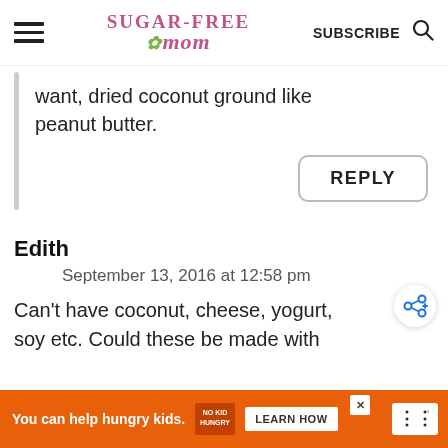Sugar-Free Mom | SUBSCRIBE
want, dried coconut ground like peanut butter.
REPLY
Edith
September 13, 2016 at 12:58 pm
Can't have coconut, cheese, yogurt, soy etc. Could these be made with
[Figure (other): Advertisement bar: orange background, 'You can help hungry kids.' with No Kid Hungry logo and LEARN HOW button]